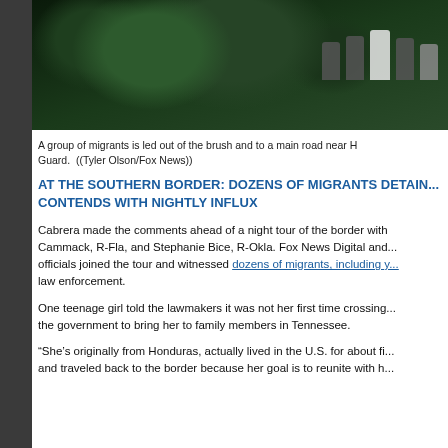[Figure (photo): Night vision or low-light photo of a group of migrants being led out of brush and to a main road near the southern border, with figures visible among dense foliage.]
A group of migrants is led out of the brush and to a main road near H... Guard.  ((Tyler Olson/Fox News))
AT THE SOUTHERN BORDER: DOZENS OF MIGRANTS DETAIN... CONTENDS WITH NIGHTLY INFLUX
Cabrera made the comments ahead of a night tour of the border with Cammack, R-Fla, and Stephanie Bice, R-Okla. Fox News Digital and... officials joined the tour and witnessed dozens of migrants, including y... law enforcement.
One teenage girl told the lawmakers it was not her first time crossing... the government to bring her to family members in Tennessee.
“She’s originally from Honduras, actually lived in the U.S. for about fi... and traveled back to the border because her goal is to reunite with h...